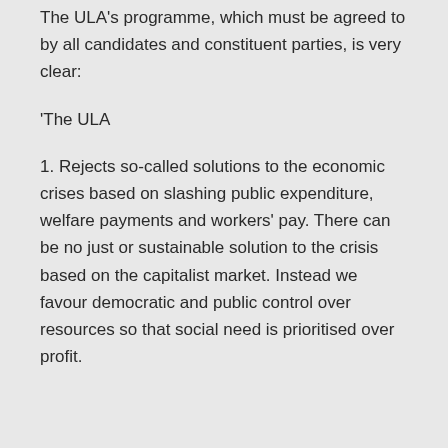The ULA's programme, which must be agreed to by all candidates and constituent parties, is very clear:
‘The ULA
1. Rejects so-called solutions to the economic crises based on slashing public expenditure, welfare payments and workers’ pay. There can be no just or sustainable solution to the crisis based on the capitalist market. Instead we favour democratic and public control over resources so that social need is prioritised over profit.